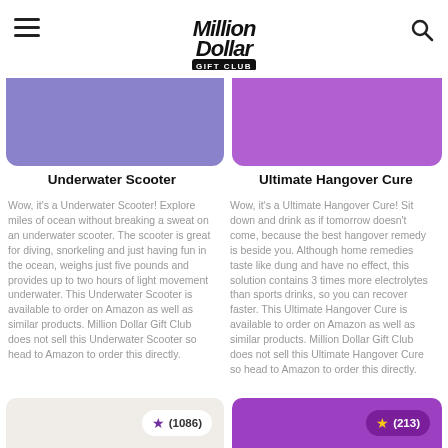Million Dollar Gift Club
[Figure (illustration): Purple/lavender rounded product image box for Underwater Scooter]
[Figure (illustration): Bright purple rounded product image box for Ultimate Hangover Cure]
Underwater Scooter
Ultimate Hangover Cure
Wow, it's a Underwater Scooter! Explore miles of ocean without breaking a sweat on an underwater scooter. The scooter is great for diving, snorkeling and just having fun in the ocean, weighs just five pounds and provides up to two hours of light movement underwater. This Underwater Scooter is available to order on Amazon as well as similar products. Million Dollar Gift Club does not sell this Underwater Scooter so head to Amazon to order this directly.
Wow, it's a Ultimate Hangover Cure! Sit down and drink as if tomorrow doesn't come, because the best hangover remedy is beside you. Although home remedies taste like dung and have no effect, this solution contains 3 times more electrolytes than sports drinks, so you can recover faster. This Ultimate Hangover Cure is available to order on Amazon as well as similar products. Million Dollar Gift Club does not sell this Ultimate Hangover Cure so head to Amazon to order this directly.
[Figure (illustration): Bottom card left beige with star rating (1086)]
[Figure (illustration): Bottom card right purple with star rating (213)]